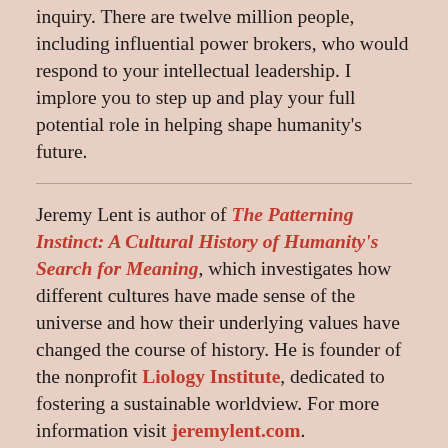inquiry. There are twelve million people, including influential power brokers, who would respond to your intellectual leadership. I implore you to step up and play your full potential role in helping shape humanity's future.
Jeremy Lent is author of The Patterning Instinct: A Cultural History of Humanity's Search for Meaning, which investigates how different cultures have made sense of the universe and how their underlying values have changed the course of history. He is founder of the nonprofit Liology Institute, dedicated to fostering a sustainable worldview. For more information visit jeremylent.com.